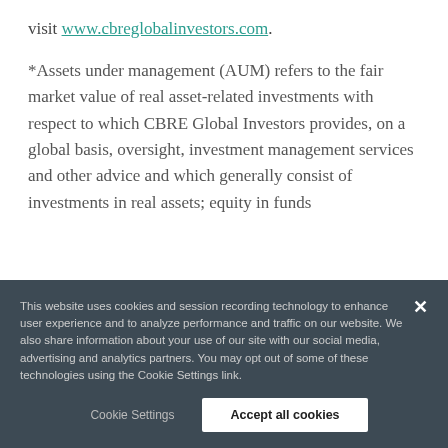visit www.cbreglobalinvestors.com.
*Assets under management (AUM) refers to the fair market value of real asset-related investments with respect to which CBRE Global Investors provides, on a global basis, oversight, investment management services and other advice and which generally consist of investments in real assets; equity in funds
This website uses cookies and session recording technology to enhance user experience and to analyze performance and traffic on our website. We also share information about your use of our site with our social media, advertising and analytics partners. You may opt out of some of these technologies using the Cookie Settings link.
Cookie Settings
Accept all cookies